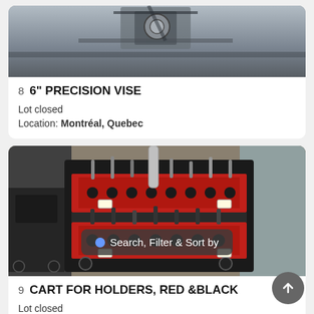[Figure (photo): Partial cropped photo of a precision vise or machining tool, seen from above, gray metallic background]
8  6" PRECISION VISE
Lot closed
Location: Montréal, Quebec
[Figure (photo): Cart with red and black shelves holding multiple CNC tool holders/holders in a workshop setting]
9  CART FOR HOLDERS, RED & BLACK
Lot closed
Search, Filter & Sort by